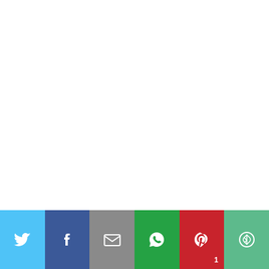Best Lunchroom Butter Cookies from 228 best old school cafeteria recipes images on Pinterest.
[Figure (infographic): Social media share bar with Twitter, Facebook, Email, WhatsApp, Pinterest (count: 1), and More buttons]